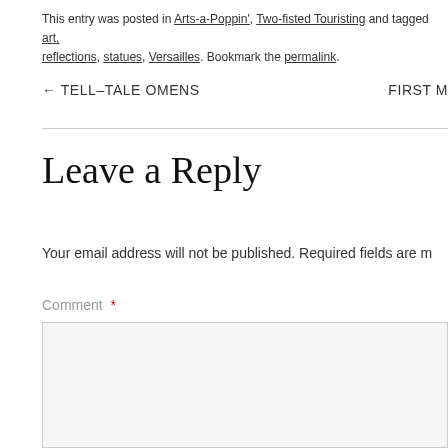This entry was posted in Arts-a-Poppin', Two-fisted Touristing and tagged art, reflections, statues, Versailles. Bookmark the permalink.
← TELL-TALE OMENS    FIRST M
Leave a Reply
Your email address will not be published. Required fields are m
Comment *